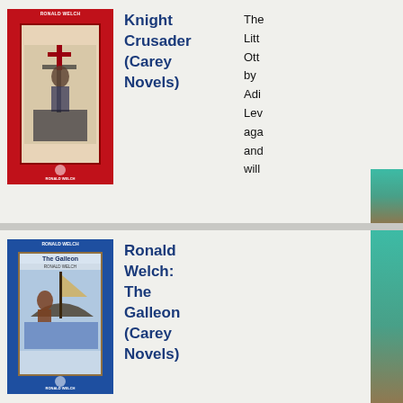[Figure (photo): Red book cover of 'Knight Crusader (Carey Novels)' by Ronald Welch, showing a knight figure]
Knight Crusader (Carey Novels)
The Litt Ott by Adi Lev aga and will
[Figure (photo): Blue book cover of 'The Galleon' by Ronald Welch (Carey Novels), showing a nautical scene]
Ronald Welch: The Galleon (Carey Novels)
[Figure (photo): Dark/black book cover of 'Tank Commander' by Ronald Welch (Carey Novels), with green tank illustration]
Ronald Welch: Tank
Commander (Carey Novels)